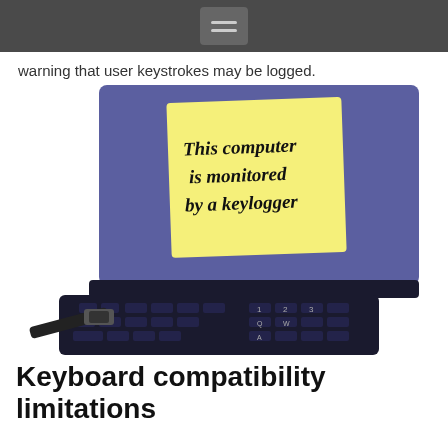[hamburger menu icon]
warning that user keystrokes may be logged.
[Figure (photo): A laptop computer with a yellow sticky note on the screen reading 'This computer is monitored by a keylogger', with a USB cable plugged into the side.]
Keyboard compatibility limitations